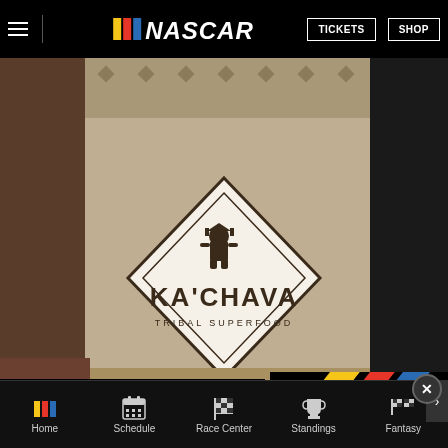NASCAR — TICKETS | SHOP
[Figure (photo): Ka'Chava tribal superfood product bag being held by a person wearing bracelets, with tribal/geometric pattern visible on the bag and a diamond-shaped Ka'Chava logo.]
[Figure (photo): NASCAR branded overlay advertisement on black background showing diagonal yellow, red, and blue racing stripes. Has a close (X) button in top right and a right-arrow navigation control.]
Why Ka'Chava
Kachava | Sponsored
[Figure (logo): NASCAR logo with 'BUY TICKETS' button in red beneath it.]
Home | Schedule | Race Center | Standings | Fantasy